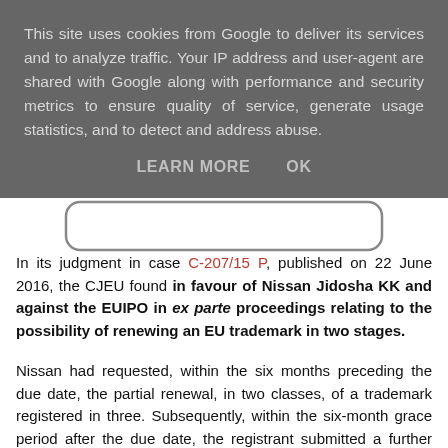This site uses cookies from Google to deliver its services and to analyze traffic. Your IP address and user-agent are shared with Google along with performance and security metrics to ensure quality of service, generate usage statistics, and to detect and address abuse.
LEARN MORE   OK
In its judgment in case C-207/15 P, published on 22 June 2016, the CJEU found in favour of Nissan Jidosha KK and against the EUIPO in ex parte proceedings relating to the possibility of renewing an EU trademark in two stages.
Nissan had requested, within the six months preceding the due date, the partial renewal, in two classes, of a trademark registered in three. Subsequently, within the six-month grace period after the due date, the registrant submitted a further request for renewal in the remaining class, which the Office turned down.